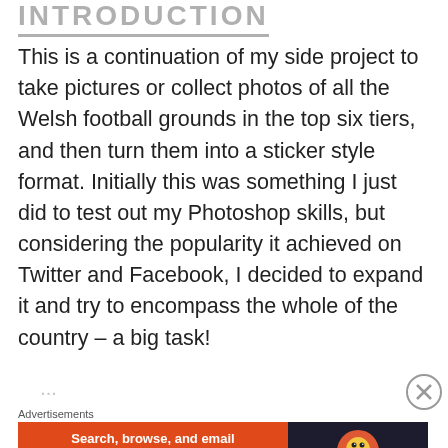INTRODUCTION
This is a continuation of my side project to take pictures or collect photos of all the Welsh football grounds in the top six tiers, and then turn them into a sticker style format. Initially this was something I just did to test out my Photoshop skills, but considering the popularity it achieved on Twitter and Facebook, I decided to expand it and try to encompass the whole of the country – a big task!
(faded/partially visible text line)
Advertisements
[Figure (other): DuckDuckGo advertisement banner: 'Search, browse, and email with more privacy. All in One Free App' with DuckDuckGo logo on dark background]